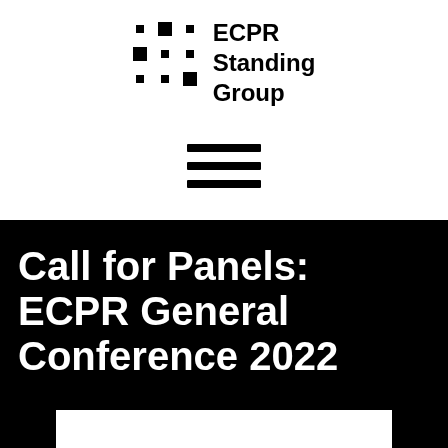[Figure (logo): ECPR Standing Group logo with 3x3 dot grid pattern and text 'ECPR Standing Group', followed by a three-line hamburger menu icon]
Call for Panels: ECPR General Conference 2022